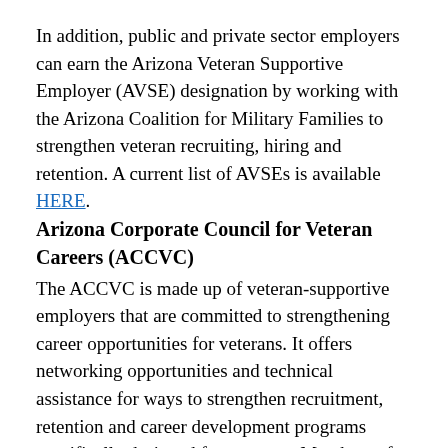In addition, public and private sector employers can earn the Arizona Veteran Supportive Employer (AVSE) designation by working with the Arizona Coalition for Military Families to strengthen veteran recruiting, hiring and retention. A current list of AVSEs is available HERE.
Arizona Corporate Council for Veteran Careers (ACCVC)
The ACCVC is made up of veteran-supportive employers that are committed to strengthening career opportunities for veterans. It offers networking opportunities and technical assistance for ways to strengthen recruitment, retention and career development programs specifically designed for veterans. Members of the Steering Committee include Arizona Public Service (APS), USAA, the Arizona Department of Veterans' Services, the Arizona